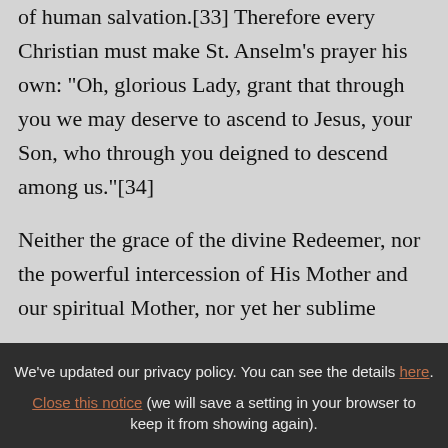of human salvation.[33] Therefore every Christian must make St. Anselm's prayer his own: "Oh, glorious Lady, grant that through you we may deserve to ascend to Jesus, your Son, who through you deigned to descend among us."[34]
Neither the grace of the divine Redeemer, nor the powerful intercession of His Mother and our spiritual Mother, nor yet her sublime
We've updated our privacy policy. You can see the details here. Close this notice (we will save a setting in your browser to keep it from showing again).